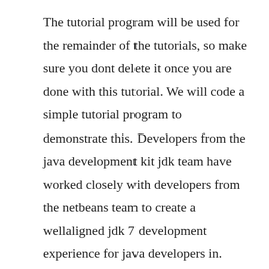The tutorial program will be used for the remainder of the tutorials, so make sure you dont delete it once you are done with this tutorial. We will code a simple tutorial program to demonstrate this. Developers from the java development kit jdk team have worked closely with developers from the netbeans team to create a wellaligned jdk 7 development experience for java developers in. Introduction to gui building contributed by saleem gul and tomas pavek, maintained by ruth kusterer and irina filippova this beginner tutorial teaches you how to create a simple